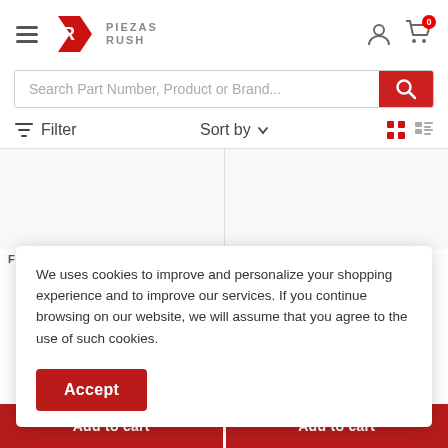[Figure (logo): Piezas Rush logo with red R icon and gray text PIEZAS RUSH]
[Figure (screenshot): Search bar with placeholder text 'Search Part Number, Product or Brand...' and red search button]
Filter
Sort by
FRIGIDAIRE
FRIGIDAIRE
We uses cookies to improve and personalize your shopping experience and to improve our services. If you continue browsing on our website, we will assume that you agree to the use of such cookies.
Accept
Add to cart
Add to cart